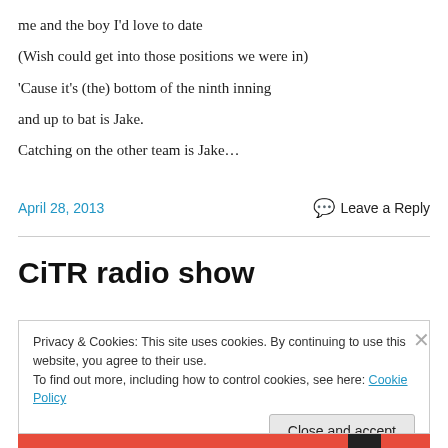me and the boy I'd love to date
(Wish could get into those positions we were in)
'Cause it's (the) bottom of the ninth inning
and up to bat is Jake.
Catching on the other team is Jake…
April 28, 2013
Leave a Reply
CiTR radio show
Privacy & Cookies: This site uses cookies. By continuing to use this website, you agree to their use. To find out more, including how to control cookies, see here: Cookie Policy
Close and accept